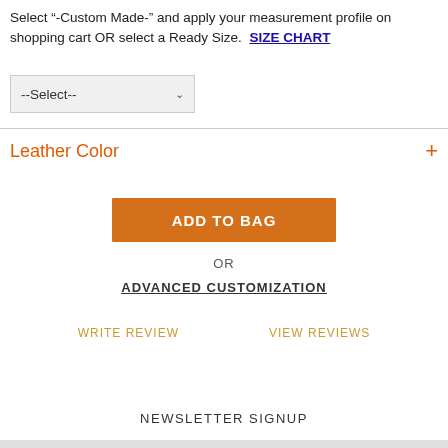Select "-Custom Made-" and apply your measurement profile on shopping cart OR select a Ready Size. SIZE CHART
--Select--
Leather Color +
ADD TO BAG
OR
ADVANCED CUSTOMIZATION
WRITE REVIEW    VIEW REVIEWS
NEWSLETTER SIGNUP